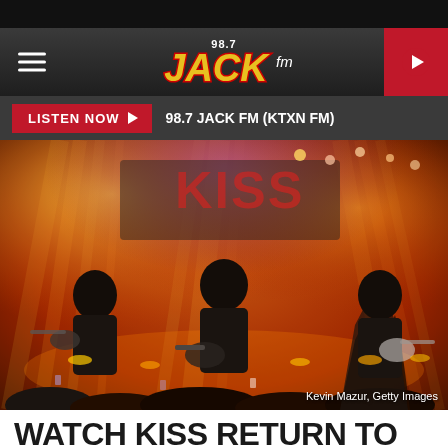[Figure (screenshot): 98.7 Jack FM radio station website header with hamburger menu, Jack FM logo, and red play button]
[Figure (screenshot): Listen Now button bar with red button and '98.7 JACK FM (KTXN FM)' text on dark background]
[Figure (photo): KISS rock band performing on stage with dramatic orange/yellow stage lighting, KISS logo backdrop, three band members visible with guitars, crowd in foreground. Photo credit: Kevin Mazur, Getty Images]
Kevin Mazur, Getty Images
WATCH KISS RETURN TO THE